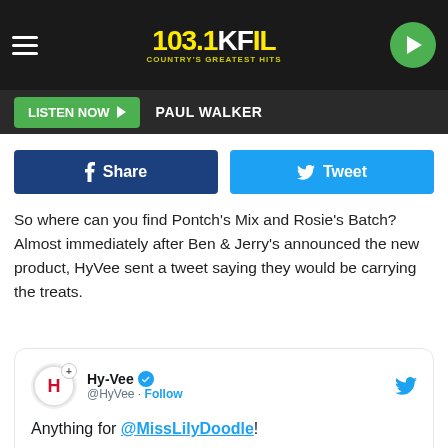[Figure (screenshot): 103.1 KFIL Country's Greatest Hits radio station header with hamburger menu, logo, and green play button]
LISTEN NOW ▶  PAUL WALKER
[Figure (infographic): Facebook Share button (dark blue) and Twitter Tweet button (light blue)]
So where can you find Pontch's Mix and Rosie's Batch? Almost immediately after Ben & Jerry's announced the new product, HyVee sent a tweet saying they would be carrying the treats.
[Figure (screenshot): Embedded tweet from Hy-Vee (@HyVee) with verified badge and Follow link. Tweet text: Anything for @MissLilyDoodle! @benandjerrys Doggie Desserts are coming to Hy-Vee! 🐶🍦]